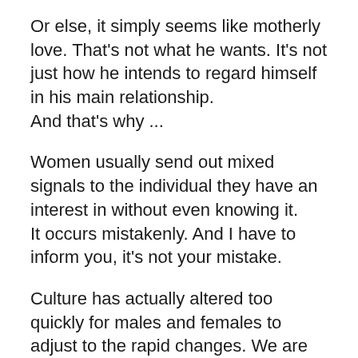Or else, it simply seems like motherly love. That's not what he wants. It's not just how he intends to regard himself in his main relationship.
And that's why ...
Women usually send out mixed signals to the individual they have an interest in without even knowing it.
It occurs mistakenly. And I have to inform you, it's not your mistake.
Culture has actually altered too quickly for males and females to adjust to the rapid changes. We are left scrambling.
In virtually every society there utilized to be a clear collection of assumptions. Those